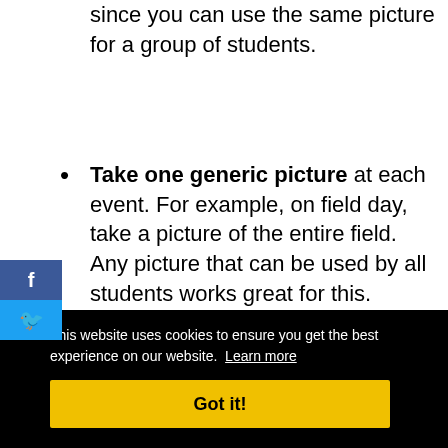since you can use the same picture for a group of students.
Take one generic picture at each event. For example, on field day, take a picture of the entire field. Any picture that can be used by all students works great for this.
Have a student draw their picture. It's not the best scenario but it's better than
This website uses cookies to ensure you get the best experience on our website. Learn more
Got it!